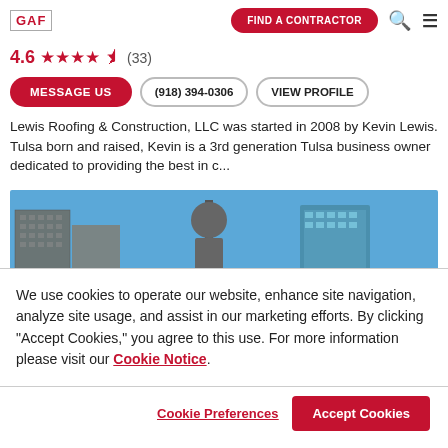[Figure (logo): GAF logo in top left corner]
FIND A CONTRACTOR
4.6 ★★★★½ (33)
MESSAGE US | (918) 394-0306 | VIEW PROFILE
Lewis Roofing & Construction, LLC was started in 2008 by Kevin Lewis. Tulsa born and raised, Kevin is a 3rd generation Tulsa business owner dedicated to providing the best in c...
[Figure (photo): Photo of city skyline with tall buildings against a blue sky]
We use cookies to operate our website, enhance site navigation, analyze site usage, and assist in our marketing efforts. By clicking "Accept Cookies," you agree to this use. For more information please visit our Cookie Notice.
Cookie Preferences | Accept Cookies